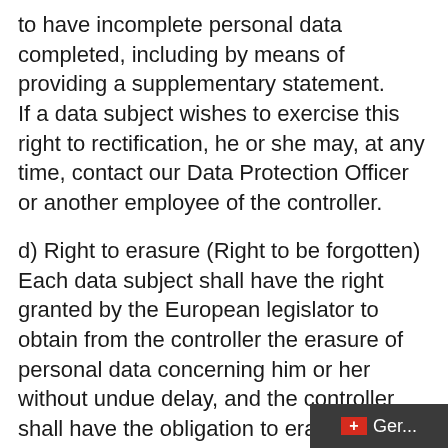to have incomplete personal data completed, including by means of providing a supplementary statement. If a data subject wishes to exercise this right to rectification, he or she may, at any time, contact our Data Protection Officer or another employee of the controller.
d) Right to erasure (Right to be forgotten) Each data subject shall have the right granted by the European legislator to obtain from the controller the erasure of personal data concerning him or her without undue delay, and the controller shall have the obligation to erase personal data without undue delay where one of the following grounds applies, as long as the processing is not necessary:
The personal data are no longer necessary in relation to the purposes for which th...